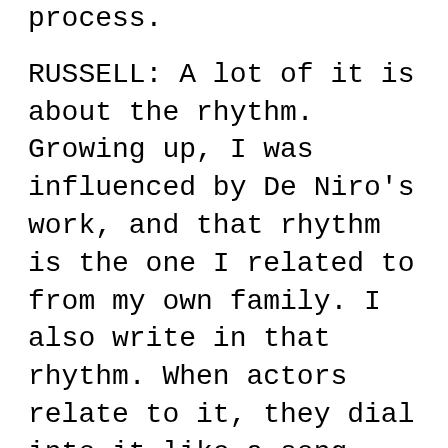process.
RUSSELL: A lot of it is about the rhythm. Growing up, I was influenced by De Niro's work, and that rhythm is the one I related to from my own family. I also write in that rhythm. When actors relate to it, they dial into it like a song, the intensity of the emotion. My goal as a filmmaker is to grab people by the throat with a sustained intensity of emotion that doesn't really stop. Watching Bradley's face look like a 10-year-old when his mother kisses him; seeing Mr. De Niro cry, surprised us all; you never